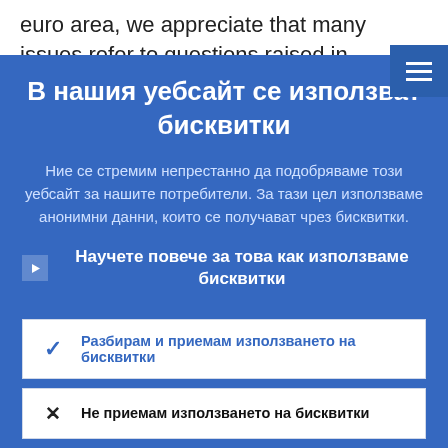euro area, we appreciate that many issues refer to questions raised in the context of
В нашия уебсайт се използват бисквитки
Ние се стремим непрестанно да подобряваме този уебсайт за нашите потребители. За тази цел използваме анонимни данни, които се получават чрез бисквитки.
Научете повече за това как използваме бисквитки
Разбирам и приемам използването на бисквитки
Не приемам използването на бисквитки